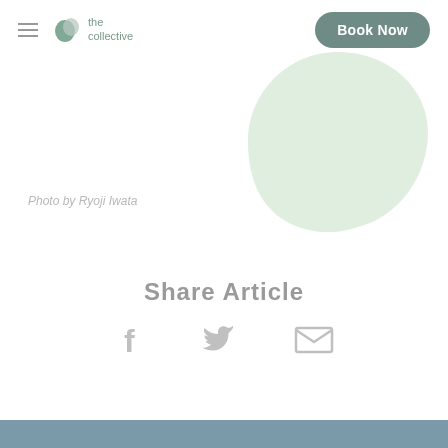the collective — Book Now
[Figure (illustration): Decorative light green organic blob/shield shape in upper right area]
Photo by Ryoji Iwata
Share Article
[Figure (infographic): Three social share icons: Facebook (f), Twitter (bird), Email (envelope)]